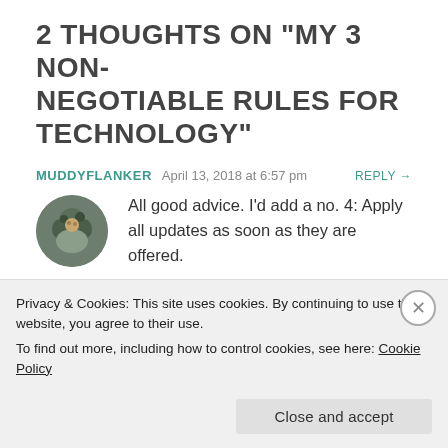2 THOUGHTS ON “MY 3 NON-NEGOTIABLE RULES FOR TECHNOLOGY”
MUDDYFLANKER   April 13, 2018 at 6:57 pm   REPLY →
All good advice. I’d add a no. 4: Apply all updates as soon as they are offered.
ANDREA   April 13, 2018 at 7:11 pm   REPLY →
Privacy & Cookies: This site uses cookies. By continuing to use this website, you agree to their use.
To find out more, including how to control cookies, see here: Cookie Policy
Close and accept